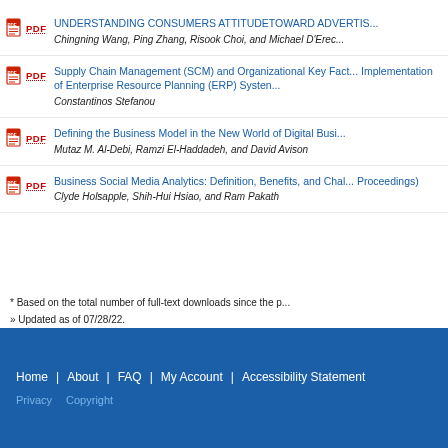UNDERSTANDING CONSUMERS ATTITUDETOWARD ADVERTIS... | Chingning Wang, Ping Zhang, Risook Choi, and Michael D'Erec...
Supply Chain Management (SCM) and Organizational Key Fact... Implementation of Enterprise Resource Planning (ERP) Systen... | Constantinos Stefanou
Defining the Business Model in the New World of Digital Busi... | Mutaz M. Al-Debi, Ramzi El-Haddadeh, and David Avison
Business Social Media Analytics: Definition, Benefits, and Chal... Proceedings) | Clyde Holsapple, Shih-Hui Hsiao, and Ram Pakath
* Based on the total number of full-text downloads since the p...
» Updated as of 07/28/22.
Home | About | FAQ | My Account | Accessibility Statement
Privacy   Copyright